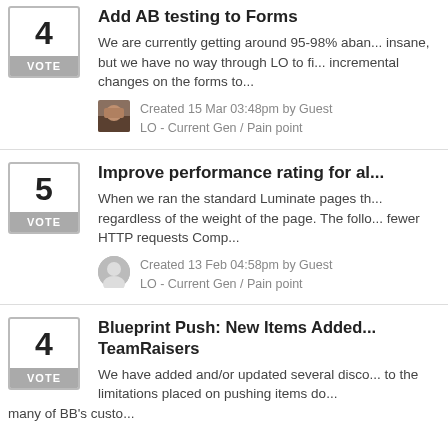Add AB Testing to Forms
We are currently getting around 95-98% aban... insane, but we have no way through LO to fi... incremental changes on the forms to...
Created 15 Mar 03:48pm by Guest
LO - Current Gen / Pain point
Improve performance rating for al...
When we ran the standard Luminate pages th... regardless of the weight of the page. The follo... fewer HTTP requests Comp...
Created 13 Feb 04:58pm by Guest
LO - Current Gen / Pain point
Blueprint Push: New Items Added... TeamRaisers
We have added and/or updated several disco... to the limitations placed on pushing items do... many of BB's custo...